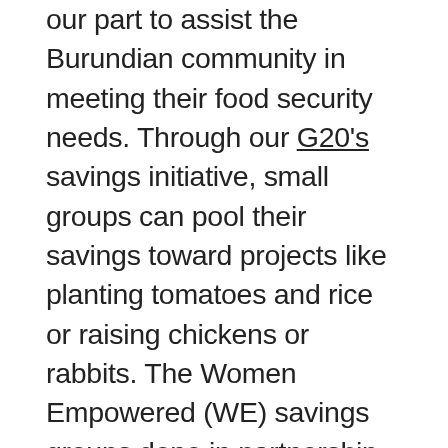our part to assist the Burundian community in meeting their food security needs. Through our G20's savings initiative, small groups can pool their savings toward projects like planting tomatoes and rice or raising chickens or rabbits. The Women Empowered (WE) savings groups done in partnership with Project Concern International (PCI) facilitate financial planning and allow group members to invest in one another's projects through micro-loans, enriching the level of economic opportunity available. Our English Clubs provide students across all 18 of Burundi's provinces with a free learning environment and access to technology and books. This can help native Burundians connect with the global community and broaden the language with an eye to all